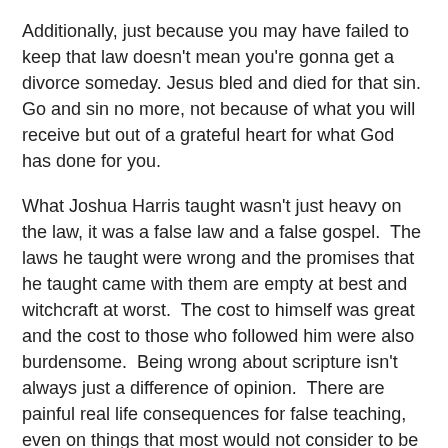Additionally, just because you may have failed to keep that law doesn't mean you're gonna get a divorce someday. Jesus bled and died for that sin.  Go and sin no more, not because of what you will receive but out of a grateful heart for what God has done for you.
What Joshua Harris taught wasn't just heavy on the law, it was a false law and a false gospel.  The laws he taught were wrong and the promises that he taught came with them are empty at best and witchcraft at worst.  The cost to himself was great and the cost to those who followed him were also burdensome.  Being wrong about scripture isn't always just a difference of opinion.  There are painful real life consequences for false teaching, even on things that most would not consider to be “salvation issues”. More on that in posts to come.